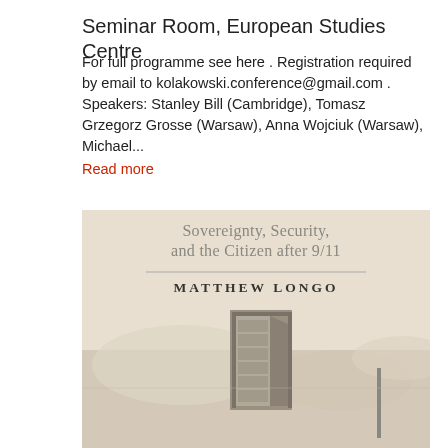Seminar Room, European Studies Centre
For full programme see here . Registration required by email to kolakowski.conference@gmail.com . Speakers: Stanley Bill (Cambridge), Tomasz Grzegorz Grosse (Warsaw), Anna Wojciuk (Warsaw), Michael...
Read more
[Figure (photo): Book cover of 'Sovereignty, Security, and the Citizen after 9/11' by Matthew Longo. Beige/sepia toned cover with a door image at the bottom.]